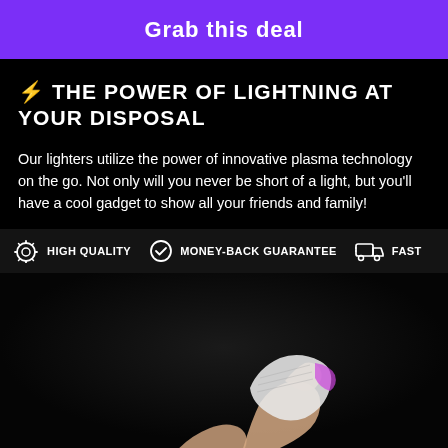Grab this deal
⚡ THE POWER OF LIGHTNING AT YOUR DISPOSAL
Our lighters utilize the power of innovative plasma technology on the go. Not only will you never be short of a light, but you'll have a cool gadget to show all your friends and family!
HIGH QUALITY
MONEY-BACK GUARANTEE
FAST
[Figure (photo): Hands holding a plasma lighter against a dark background]